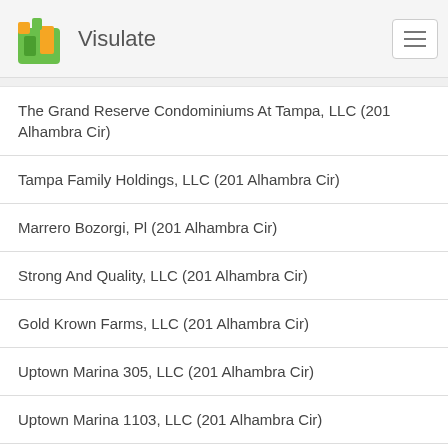Visulate
The Grand Reserve Condominiums At Tampa, LLC (201 Alhambra Cir)
Tampa Family Holdings, LLC (201 Alhambra Cir)
Marrero Bozorgi, Pl (201 Alhambra Cir)
Strong And Quality, LLC (201 Alhambra Cir)
Gold Krown Farms, LLC (201 Alhambra Cir)
Uptown Marina 305, LLC (201 Alhambra Cir)
Uptown Marina 1103, LLC (201 Alhambra Cir)
Negus Iii, LLC. (201 Alhambra Cir)
Plasencia Family Holdings, LLC (201 Alhambra Cir)